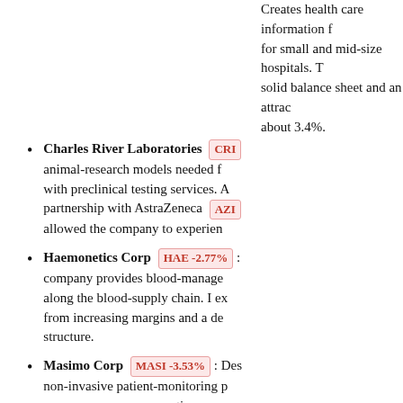Creates health care information technology for small and mid-size hospitals. The solid balance sheet and an attractive yield of about 3.4%.
Charles River Laboratories CRI: animal-research models needed for drug discovery with preclinical testing services. A partnership with AstraZeneca AZN allowed the company to experience...
Haemonetics Corp HAE -2.77%: company provides blood-management solutions along the blood-supply chain. I expect benefits from increasing margins and a de-leveraged structure.
Masimo Corp MASI -3.53%: Des... non-invasive patient-monitoring products for emergency rooms, operating rooms. The company has sizable cash on hand and no long-term debt.
Owens and Minor OMI -4.05%: S... and surgical supplies to hospitals.